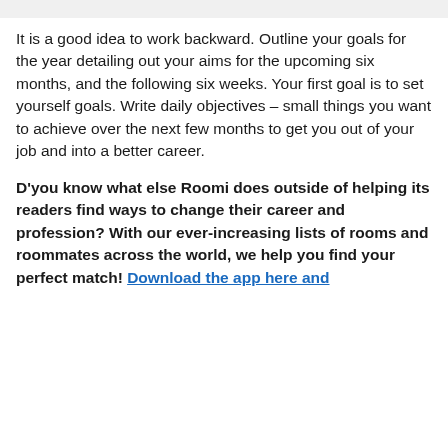It is a good idea to work backward. Outline your goals for the year detailing out your aims for the upcoming six months, and the following six weeks. Your first goal is to set yourself goals. Write daily objectives – small things you want to achieve over the next few months to get you out of your job and into a better career.
D'you know what else Roomi does outside of helping its readers find ways to change their career and profession? With our ever-increasing lists of rooms and roommates across the world, we help you find your perfect match! Download the app here and